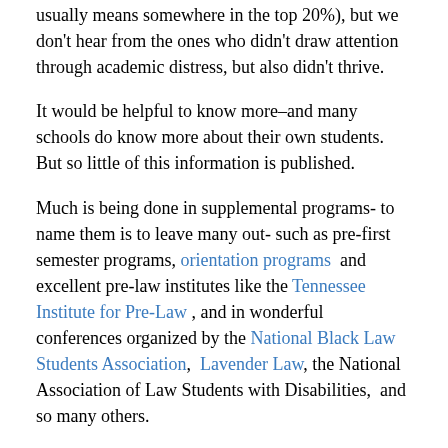usually means somewhere in the top 20%), but we don't hear from the ones who didn't draw attention through academic distress, but also didn't thrive.
It would be helpful to know more–and many schools do know more about their own students.  But so little of this information is published.
Much is being done in supplemental programs- to name them is to leave many out- such as pre-first semester programs, orientation programs  and excellent pre-law institutes like the Tennessee Institute for Pre-Law , and in wonderful conferences organized by the National Black Law Students Association,  Lavender Law, the National Association of Law Students with Disabilities,  and so many others.
But how much more effective would it be to have a